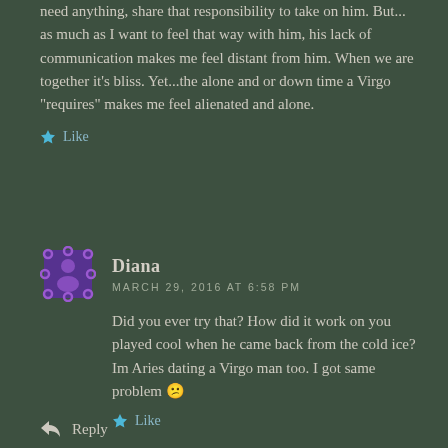need anything, share that responsibility to take on him. But... as much as I want to feel that way with him, his lack of communication makes me feel distant from him. When we are together it’s bliss. Yet...the alone and or down time a Virgo “requires” makes me feel alienated and alone.
★ Like
[Figure (other): Purple dashed circle avatar icon for commenter Diana]
Diana
MARCH 29, 2016 AT 6:58 PM
Did you ever try that? How did it work on you played cool when he came back from the cold ice?
Im Aries dating a Virgo man too. I got same problem 😕
★ Like
↩ Reply